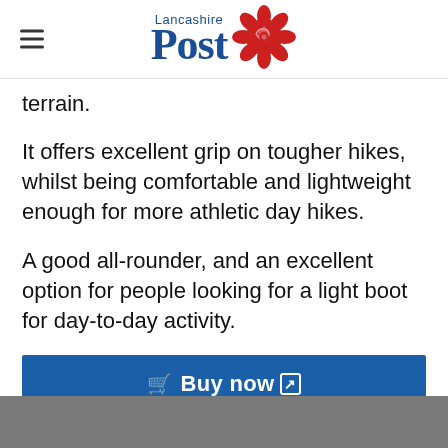Lancashire Post
terrain.
It offers excellent grip on tougher hikes, whilst being comfortable and lightweight enough for more athletic day hikes.
A good all-rounder, and an excellent option for people looking for a light boot for day-to-day activity.
Buy now